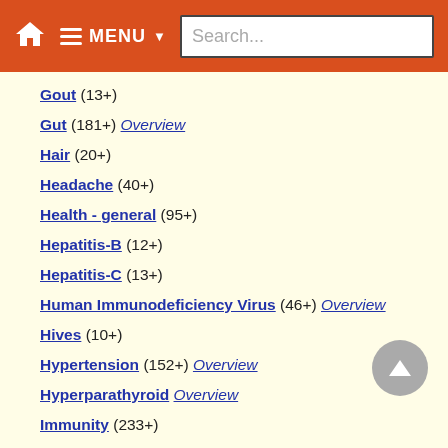MENU  Search...
Gout (13+)
Gut (181+) Overview
Hair (20+)
Headache (40+)
Health - general (95+)
Hepatitis-B (12+)
Hepatitis-C (13+)
Human Immunodeficiency Virus (46+) Overview
Hives (10+)
Hypertension (152+) Overview
Hyperparathyroid Overview
Immunity (233+)